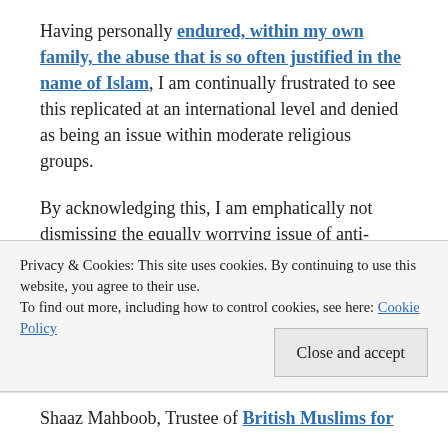Having personally endured, within my own family, the abuse that is so often justified in the name of Islam, I am continually frustrated to see this replicated at an international level and denied as being an issue within moderate religious groups.
By acknowledging this, I am emphatically not dismissing the equally worrying issue of anti-Muslim bigotry. I'm just as committed to fighting that as I am to combating terrorism.
Privacy & Cookies: This site uses cookies. By continuing to use this website, you agree to their use. To find out more, including how to control cookies, see here: Cookie Policy
Close and accept
Shaaz Mahboob, Trustee of British Muslims for